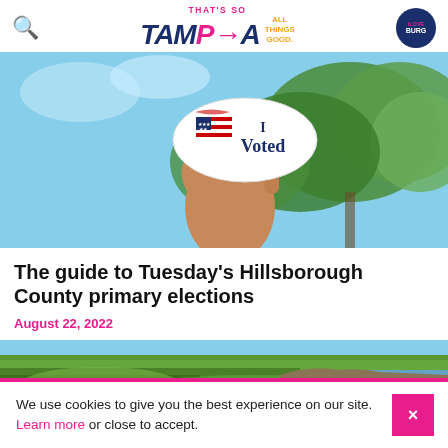THAT'S SO TAMPA ALL THINGS GOOD.
[Figure (photo): A hand holding an 'I Voted' sticker with American flag graphic, against a background of blue sky and green trees]
The guide to Tuesday’s Hillsborough County primary elections
August 22, 2022
[Figure (photo): A marshy green landscape with water visible on the right side]
We use cookies to give you the best experience on our site. Learn more or close to accept.